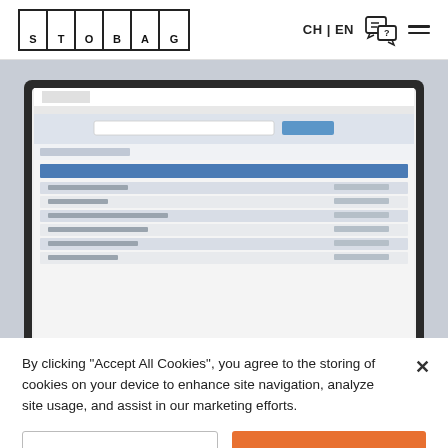[Figure (logo): STOBAG logo with grid-style letter cells and navigation bar with CH|EN language switcher, chat icon, and hamburger menu]
[Figure (screenshot): Laptop screen showing STOBAG website with a product configurator or order table interface, displayed at an angle on a gray surface]
By clicking “Accept All Cookies”, you agree to the storing of cookies on your device to enhance site navigation, analyze site usage, and assist in our marketing efforts.
Cookies Settings
Accept All Cookies